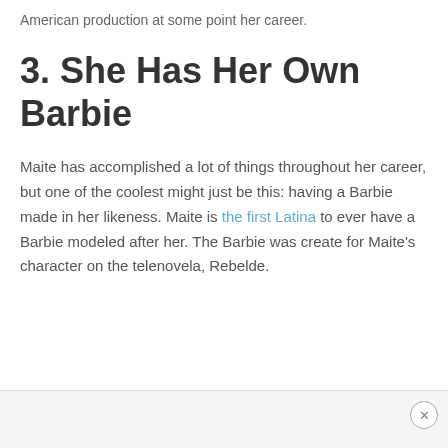American production at some point her career.
3. She Has Her Own Barbie
Maite has accomplished a lot of things throughout her career, but one of the coolest might just be this: having a Barbie made in her likeness. Maite is the first Latina to ever have a Barbie modeled after her. The Barbie was create for Maite's character on the telenovela, Rebelde.